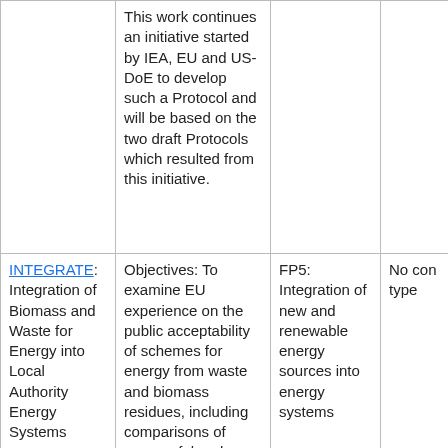|  | This work continues an initiative started by IEA, EU and US-DoE to develop such a Protocol and will be based on the two draft Protocols which resulted from this initiative. |  |  |
| INTEGRATE: Integration of Biomass and Waste for Energy into Local Authority Energy Systems | Objectives: To examine EU experience on the public acceptability of schemes for energy from waste and biomass residues, including comparisons of successful and unsuccessful schemes; To | FP5: Integration of new and renewable energy sources into energy systems | No con type |